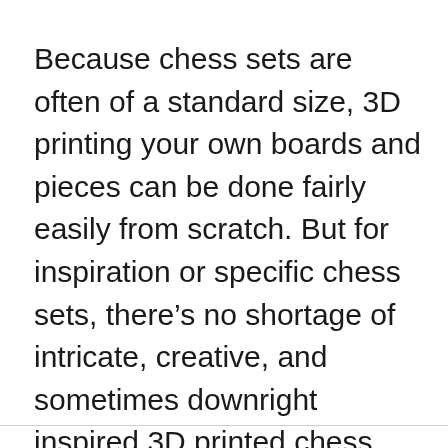Because chess sets are often of a standard size, 3D printing your own boards and pieces can be done fairly easily from scratch. But for inspiration or specific chess sets, there’s no shortage of intricate, creative, and sometimes downright inspired 3D printed chess sets to be found.